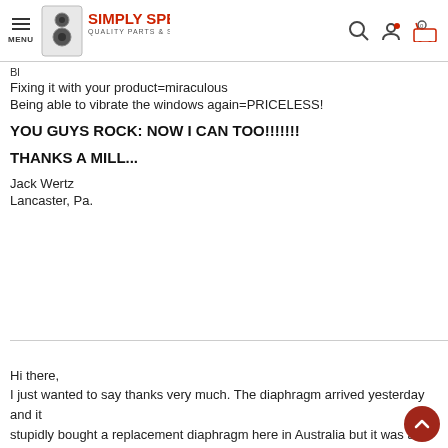MENU | Simply Speakers - Quality Parts & Service
Fixing it with your product=miraculous
Being able to vibrate the windows again=PRICELESS!
YOU GUYS ROCK: NOW I CAN TOO!!!!!!!
THANKS A MILL...
Jack Wertz
Lancaster, Pa.
Hi there,
I just wanted to say thanks very much. The diaphragm arrived yesterday and it stupidly bought a replacement diaphragm here in Australia but it was an aftern although it worked fine and the highs and mids were there, the sound was defi But the second after I installed yours and played music through it I could certa